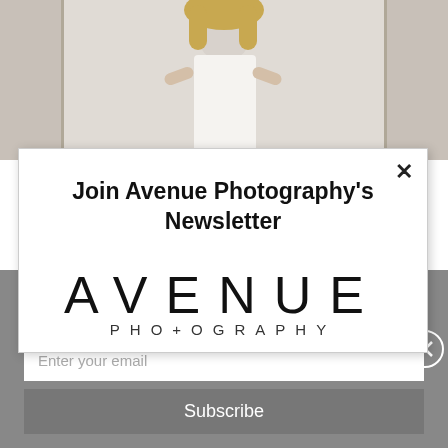[Figure (photo): Background photo of a bride in a white wedding dress, partially visible behind a modal popup overlay]
Join Avenue Photography's Newsletter
[Figure (logo): Avenue Photography logo — large spaced uppercase AVENUE text with PHOTOGRAPHY in smaller spaced letters below]
AVENUE Photography © 2016. All Rights Reserved. | Newsletter Signup
Enter your email
Subscribe